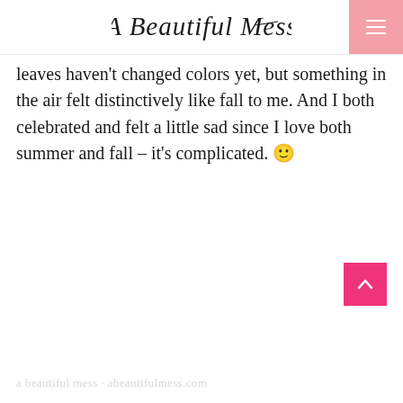A Beautiful Mess
leaves haven't changed colors yet, but something in the air felt distinctively like fall to me. And I both celebrated and felt a little sad since I love both summer and fall – it's complicated. 🙂
a beautiful mess | blog post content